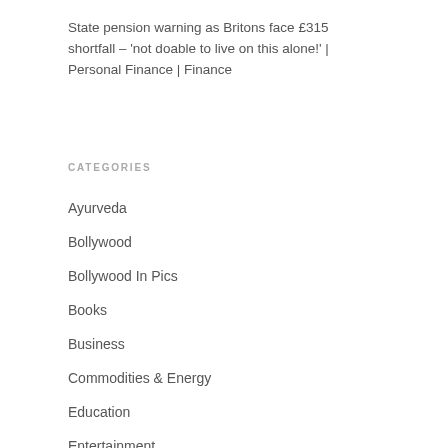State pension warning as Britons face £315 shortfall – 'not doable to live on this alone!' | Personal Finance | Finance
CATEGORIES
Ayurveda
Bollywood
Bollywood In Pics
Books
Business
Commodities & Energy
Education
Entertainment